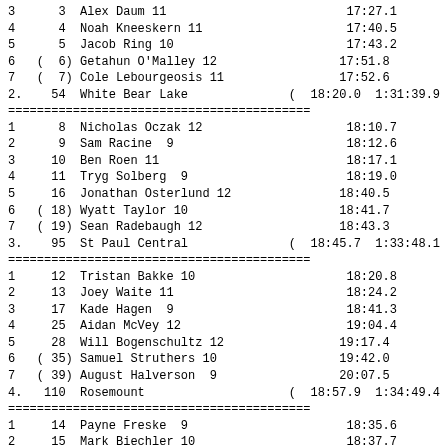| Place | Bib | Name | Time |
| --- | --- | --- | --- |
| 3 | 3 | Alex Daum 11 | 17:27.1 |
| 4 | 4 | Noah Kneeskern 11 | 17:40.5 |
| 5 | 5 | Jacob Ring 10 | 17:43.2 |
| 6 | ( 6) | Getahun O'Malley 12 | 17:51.8 |
| 7 | ( 7) | Cole Lebourgeosis 11 | 17:52.6 |
2.  54  White Bear Lake  (  18:20.0  1:31:39.9
| Place | Bib | Name | Time |
| --- | --- | --- | --- |
| 1 | 8 | Nicholas Oczak 12 | 18:10.7 |
| 2 | 9 | Sam Racine  9 | 18:12.6 |
| 3 | 10 | Ben Roen 11 | 18:17.1 |
| 4 | 11 | Tryg Solberg  9 | 18:19.0 |
| 5 | 16 | Jonathan Osterlund 12 | 18:40.5 |
| 6 | ( 18) | Wyatt Taylor 10 | 18:41.7 |
| 7 | ( 19) | Sean Radebaugh 12 | 18:43.3 |
3.  95  St Paul Central  (  18:45.7  1:33:48.1
| Place | Bib | Name | Time |
| --- | --- | --- | --- |
| 1 | 12 | Tristan Bakke 10 | 18:20.8 |
| 2 | 13 | Joey Waite 11 | 18:24.2 |
| 3 | 17 | Kade Hagen  9 | 18:41.3 |
| 4 | 25 | Aidan McVey 12 | 19:04.4 |
| 5 | 28 | Will Bogenschultz 12 | 19:17.4 |
| 6 | ( 35) | Samuel Struthers 10 | 19:42.0 |
| 7 | ( 39) | August Halverson  9 | 20:07.5 |
4. 110  Rosemount  (  18:57.9  1:34:49.4
| Place | Bib | Name | Time |
| --- | --- | --- | --- |
| 1 | 14 | Payne Freske  9 | 18:35.6 |
| 2 | 15 | Mark Biechler 10 | 18:37.7 |
| 3 | 22 | Zach Zimmer  9 | 18:51.8 |
| 4 | 26 | Sam Anderson 10 | 19:11.0 |
| 5 | 30 | Thomas Hoffstetter 11 | 19:23.0 |